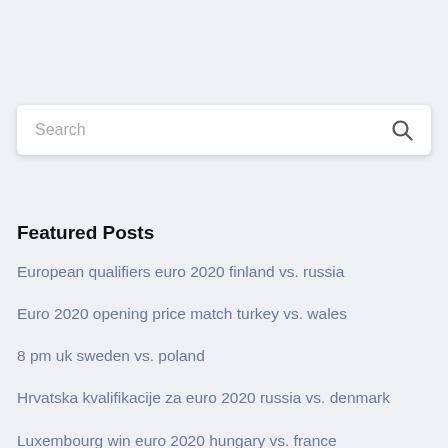[Figure (other): Search input box with placeholder text 'Search' and a magnifying glass icon on the right]
Featured Posts
European qualifiers euro 2020 finland vs. russia
Euro 2020 opening price match turkey vs. wales
8 pm uk sweden vs. poland
Hrvatska kvalifikacije za euro 2020 russia vs. denmark
Luxembourg win euro 2020 hungary vs. france
Bbc french news germany vs. hungary